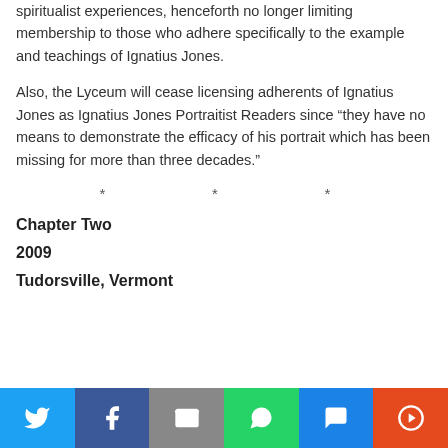spiritualist experiences, henceforth no longer limiting membership to those who adhere specifically to the example and teachings of Ignatius Jones.
Also, the Lyceum will cease licensing adherents of Ignatius Jones as Ignatius Jones Portraitist Readers since "they have no means to demonstrate the efficacy of his portrait which has been missing for more than three decades."
* * *
Chapter Two
2009
Tudorsville, Vermont
[Figure (infographic): Social sharing bar with icons for Twitter, Facebook, Email, WhatsApp, SMS, and More]